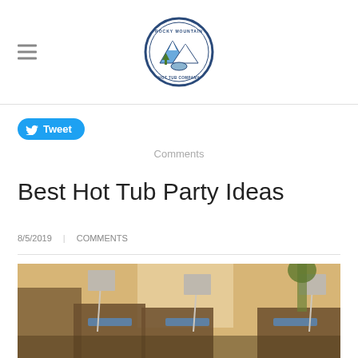[Logo: Rocky Mountain Hot Tub Company]
Tweet
Comments
Best Hot Tub Party Ideas
8/5/2019   COMMENTS
[Figure (photo): Blurred outdoor patio scene with lounge chairs and music stands, warm golden afternoon light, appears to be a rooftop or poolside venue.]